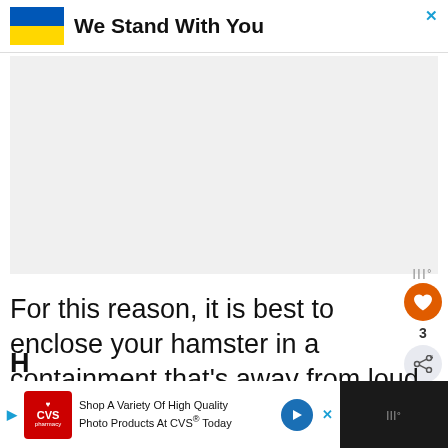[Figure (infographic): Advertisement banner with Ukrainian flag and text 'We Stand With You']
[Figure (infographic): Gray advertisement area placeholder]
For this reason, it is best to enclose your hamster in a containment that's away from loud noises. Loud children and rambunctious animals should be kept away from to minimize the risk of stressing out your pet.
[Figure (infographic): What's Next widget with hamster thumbnail and text 'Does My Hamster...']
[Figure (infographic): CVS Pharmacy advertisement: Shop A Variety Of High Quality Photo Products At CVS Today]